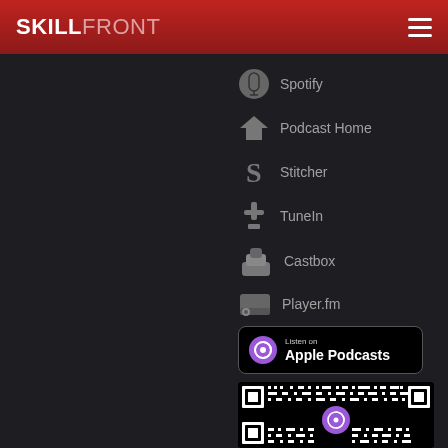SKILLFRONT
Spotify
Podcast Home
Stitcher
TuneIn
Castbox
Player.fm
[Figure (logo): Listen on Apple Podcasts badge with purple podcast icon]
[Figure (other): QR code for Apple Podcasts with purple podcast icon overlay]